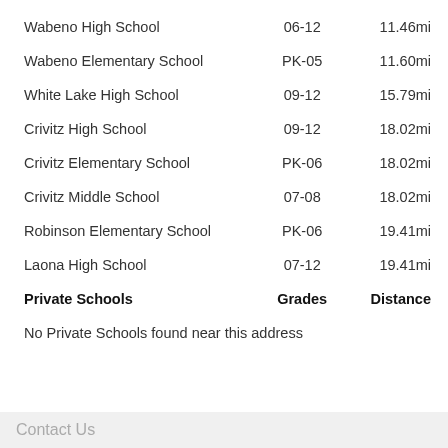|  | Grades | Distance |
| --- | --- | --- |
| Wabeno High School | 06-12 | 11.46mi |
| Wabeno Elementary School | PK-05 | 11.60mi |
| White Lake High School | 09-12 | 15.79mi |
| Crivitz High School | 09-12 | 18.02mi |
| Crivitz Elementary School | PK-06 | 18.02mi |
| Crivitz Middle School | 07-08 | 18.02mi |
| Robinson Elementary School | PK-06 | 19.41mi |
| Laona High School | 07-12 | 19.41mi |
| Private Schools | Grades | Distance |
| --- | --- | --- |
No Private Schools found near this address
Contact Us